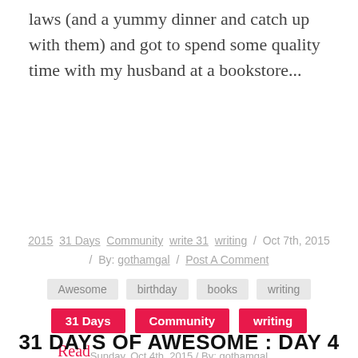laws (and a yummy dinner and catch up with them) and got to spend some quality time with my husband at a bookstore...
Read More »
2015  31 Days  Community  write 31  writing  /  Oct 7th, 2015  /  By: gothamgal  /  Post A Comment
Awesome   birthday   books   writing
31 Days   Community   writing
31 DAYS OF AWESOME : DAY 4
Sunday, Oct 4th, 2015  /  By: gothamgal